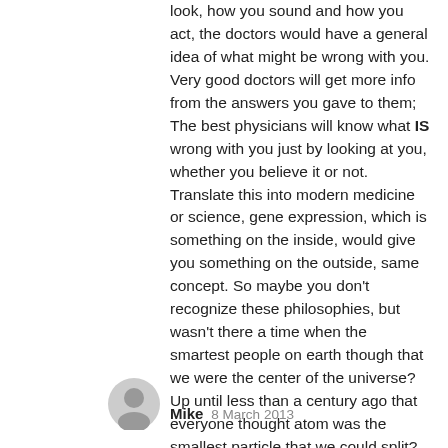look, how you sound and how you act, the doctors would have a general idea of what might be wrong with you. Very good doctors will get more info from the answers you gave to them; The best physicians will know what IS wrong with you just by looking at you, whether you believe it or not. Translate this into modern medicine or science, gene expression, which is something on the inside, would give you something on the outside, same concept. So maybe you don't recognize these philosophies, but wasn't there a time when the smartest people on earth though that we were the center of the universe? Up until less than a century ago that everyone thought atom was the smallest particle that we could split? So are you telling me that you are so unbelievably arrogant that you can't even open your heart and mind this teeny tiny bit to accept the possibility that what you thought and believed was wrong???? Best.
Mike   8 March 2013